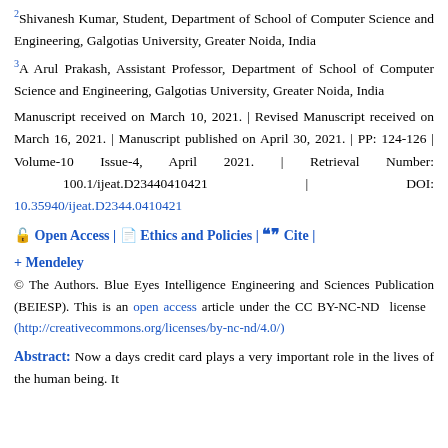2Shivanesh Kumar, Student, Department of School of Computer Science and Engineering, Galgotias University, Greater Noida, India
3A Arul Prakash, Assistant Professor, Department of School of Computer Science and Engineering, Galgotias University, Greater Noida, India
Manuscript received on March 10, 2021. | Revised Manuscript received on March 16, 2021. | Manuscript published on April 30, 2021. | PP: 124-126 | Volume-10 Issue-4, April 2021. | Retrieval Number: 100.1/ijeat.D23440410421 | DOI: 10.35940/ijeat.D2344.0410421
Open Access | Ethics and Policies | Cite | + Mendeley
© The Authors. Blue Eyes Intelligence Engineering and Sciences Publication (BEIESP). This is an open access article under the CC BY-NC-ND license (http://creativecommons.org/licenses/by-nc-nd/4.0/)
Abstract: Now a days credit card plays a very important role in the lives of the human being. It